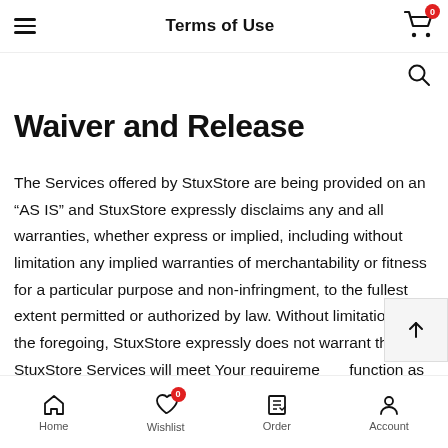Terms of Use
Waiver and Release
The Services offered by StuxStore are being provided on an “AS IS” and StuxStore expressly disclaims any and all warranties, whether express or implied, including without limitation any implied warranties of merchantability or fitness for a particular purpose and non-infringment, to the fullest extent permitted or authorized by law. Without limitation of the foregoing, StuxStore expressly does not warrant that the StuxStore Services will meet Your requirements, function as intended, or that the use of the provided
Home  Wishlist  Order  Account